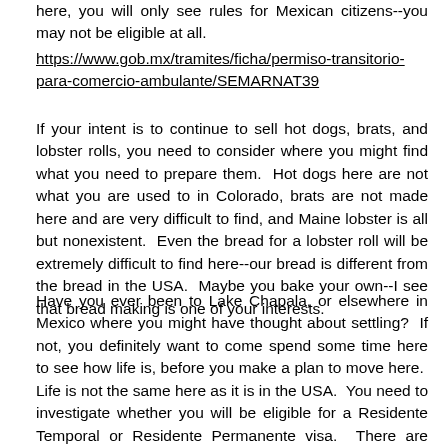here, you will only see rules for Mexican citizens--you may not be eligible at all.
https://www.gob.mx/tramites/ficha/permiso-transitorio-para-comercio-ambulante/SEMARNAT39
If your intent is to continue to sell hot dogs, brats, and lobster rolls, you need to consider where you might find what you need to prepare them.  Hot dogs here are not what you are used to in Colorado, brats are not made here and are very difficult to find, and Maine lobster is all but nonexistent.  Even the bread for a lobster roll will be extremely difficult to find here--our bread is different from the bread in the USA.  Maybe you bake your own--I see that bread making is one of your interests.
Have you ever been to Lake Chapala, or elsewhere in Mexico where you might have thought about settling?  If not, you definitely want to come spend some time here to see how life is, before you make a plan to move here.  Life is not the same here as it is in the USA.  You need to investigate whether you will be eligible for a Residente Temporal or Residente Permanente visa.  There are income requirements you must meet in order to apply for these.  Visit the Mexican consulate nearest you to get some